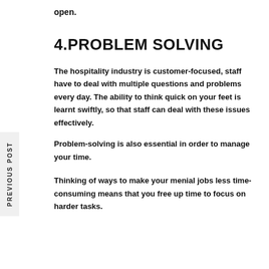open.
4.PROBLEM SOLVING
The hospitality industry is customer-focused, staff have to deal with multiple questions and problems every day. The ability to think quick on your feet is learnt swiftly, so that staff can deal with these issues effectively.
Problem-solving is also essential in order to manage your time.
Thinking of ways to make your menial jobs less time-consuming means that you free up time to focus on harder tasks.
PREVIOUS POST